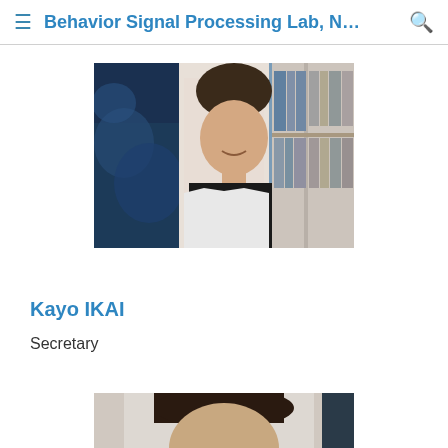Behavior Signal Processing Lab, N...
[Figure (photo): Headshot photo of Kayo IKAI, smiling woman in white jacket and black turtleneck, with blue artwork on left and bookshelf on right in background]
Kayo IKAI
Secretary
[Figure (photo): Partial headshot photo of another person, cropped at bottom of page]